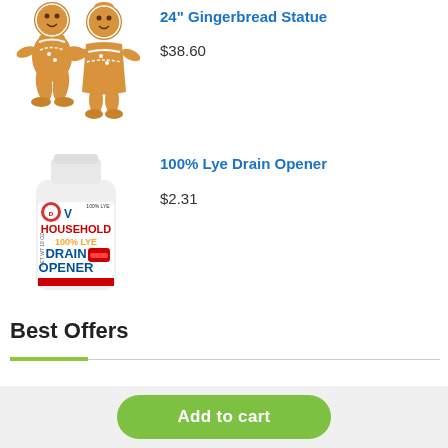[Figure (photo): Two gingerbread man statues side by side, brown with white icing decoration]
24" Gingerbread Statue
$38.60
[Figure (photo): White plastic bottle of Household 100% Lye Drain Opener with red and yellow label]
100% Lye Drain Opener
$2.31
Best Offers
[Figure (photo): Partially visible product image - Hydro Mouss Bermuda Kit]
Hydro Mouss Bermuda Kit
Add to cart